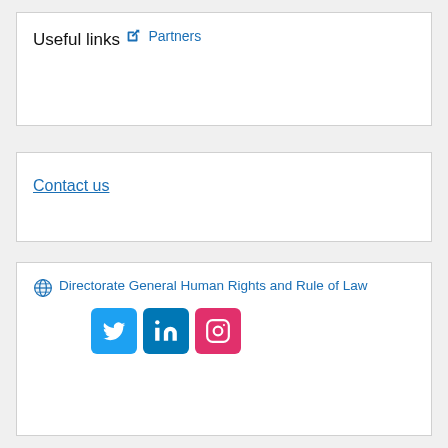Useful links
Partners
Contact us
Directorate General Human Rights and Rule of Law
[Figure (other): Social media icons: Twitter, LinkedIn, Instagram]